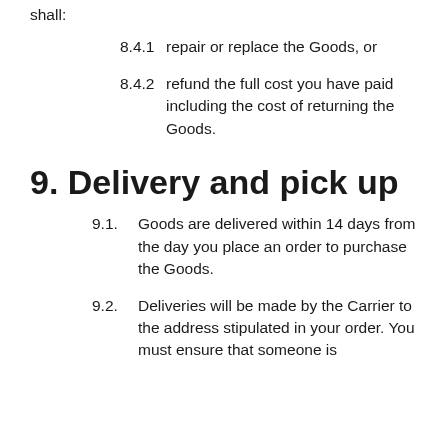shall:
8.4.1    repair or replace the Goods, or
8.4.2    refund the full cost you have paid including the cost of returning the Goods.
9. Delivery and pick up
9.1.    Goods are delivered within 14 days from the day you place an order to purchase the Goods.
9.2.    Deliveries will be made by the Carrier to the address stipulated in your order. You must ensure that someone is